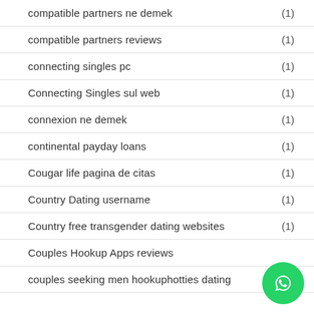compatible partners ne demek (1)
compatible partners reviews (1)
connecting singles pc (1)
Connecting Singles sul web (1)
connexion ne demek (1)
continental payday loans (1)
Cougar life pagina de citas (1)
Country Dating username (1)
Country free transgender dating websites (1)
Couples Hookup Apps reviews
couples seeking men hookuphotties dating